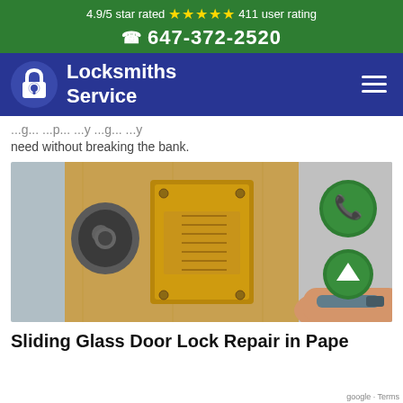4.9/5 star rated ★★★★★ 411 user rating
☎ 647-372-2520
[Figure (logo): Locksmiths Service logo with padlock icon and navigation hamburger menu on dark navy background]
need without breaking the bank.
[Figure (photo): Close-up photo of a locksmith working on a brass deadbolt lock mechanism on a wooden door, with green phone call button and green scroll-up button visible on the right side]
Sliding Glass Door Lock Repair in Pape